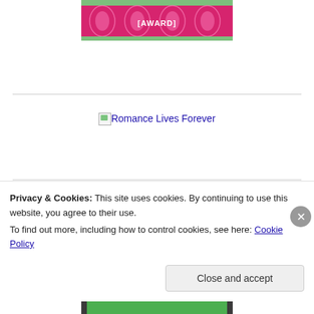[Figure (illustration): Top banner image with pink floral damask pattern on green/pink background, partially showing text '[AWARD]']
[Figure (illustration): Broken image link placeholder showing 'Romance Lives Forever' as alt text, displayed as a hyperlink]
[Figure (illustration): One Lovely Blog Award image - dark textured background with pink rose and cursive text reading 'One Lovely Blog Award']
Privacy & Cookies: This site uses cookies. By continuing to use this website, you agree to their use.
To find out more, including how to control cookies, see here: Cookie Policy
Close and accept